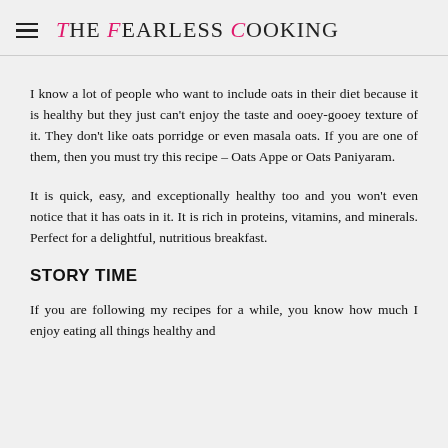The Fearless Cooking
I know a lot of people who want to include oats in their diet because it is healthy but they just can't enjoy the taste and ooey-gooey texture of it. They don't like oats porridge or even masala oats. If you are one of them, then you must try this recipe – Oats Appe or Oats Paniyaram.
It is quick, easy, and exceptionally healthy too and you won't even notice that it has oats in it. It is rich in proteins, vitamins, and minerals. Perfect for a delightful, nutritious breakfast.
STORY TIME
If you are following my recipes for a while, you know how much I enjoy eating all things healthy and